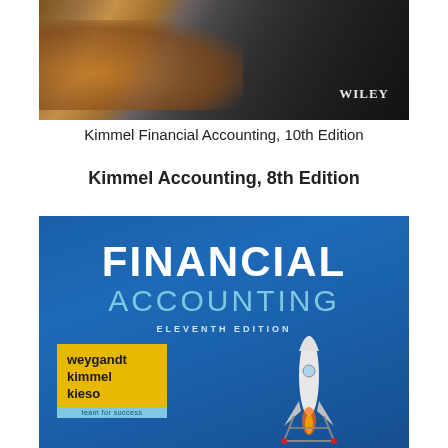[Figure (photo): Book cover of Kimmel Financial Accounting 10th Edition with a road/pavement photo and Wiley branding]
Kimmel Financial Accounting, 10th Edition
Kimmel Accounting, 8th Edition
[Figure (photo): Book cover of Financial Accounting Eleventh Edition by Weygandt, Kimmel, Kieso - blue cover with rocket image and author names in yellow box]